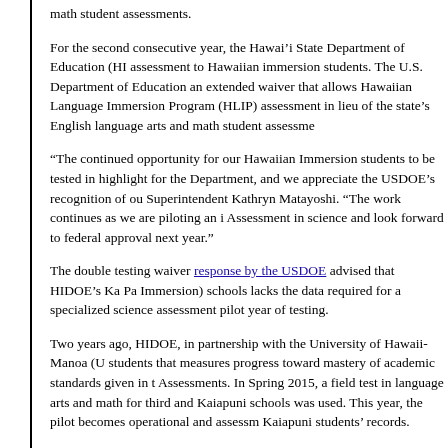math student assessments.
For the second consecutive year, the Hawai'i State Department of Education (HI assessment to Hawaiian immersion students. The U.S. Department of Education an extended waiver that allows Hawaiian Language Immersion Program (HLIP) assessment in lieu of the state's English language arts and math student assessme
“The continued opportunity for our Hawaiian Immersion students to be tested in highlight for the Department, and we appreciate the USDOE’s recognition of ou Superintendent Kathryn Matayoshi. “The work continues as we are piloting an i Assessment in science and look forward to federal approval next year.”
The double testing waiver response by the USDOE advised that HIDOE’s Ka Pa Immersion) schools lacks the data required for a specialized science assessment pilot year of testing.
Two years ago, HIDOE, in partnership with the University of Hawaii-Manoa (U students that measures progress toward mastery of academic standards given in t Assessments. In Spring 2015, a field test in language arts and math for third and Kaiapuni schools was used. This year, the pilot becomes operational and assessm Kaiapuni students' records.
The field test foregoes the statewide assessment, Smarter Balanced, which is adm 11.